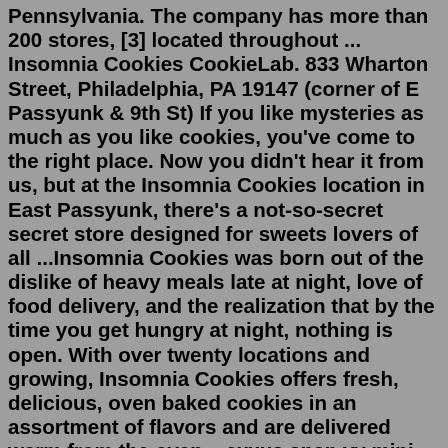Pennsylvania. The company has more than 200 stores, [3] located throughout ... Insomnia Cookies CookieLab. 833 Wharton Street, Philadelphia, PA 19147 (corner of E Passyunk & 9th St) If you like mysteries as much as you like cookies, you've come to the right place. Now you didn't hear it from us, but at the Insomnia Cookies location in East Passyunk, there's a not-so-secret secret store designed for sweets lovers of all ...Insomnia Cookies was born out of the dislike of heavy meals late at night, love of food delivery, and the realization that by the time you get hungry at night, nothing is open. With over twenty locations and growing, Insomnia Cookies offers fresh, delicious, oven baked cookies in an assortment of flavors and are delivered warm from the oven ...exxus snap vv mini Obitus webcast.Remembering Roy Arthur Walters. Friday 1st July 10:15 Watch a webcast... eltham.crematorium@royalgreenwich.gov.uk. Delivered in partnership with ....Meet on the Keighley side of Gallagher Funeral Directors, Skipton Road,